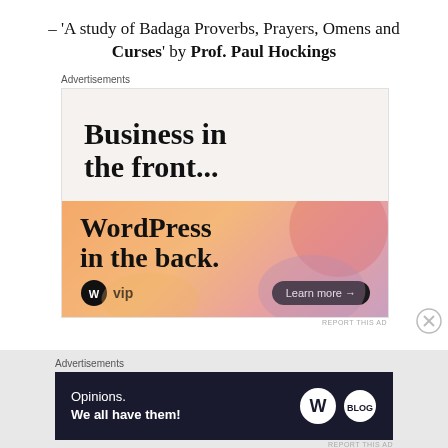– 'A study of Badaga Proverbs, Prayers, Omens and Curses' by Prof. Paul Hockings
[Figure (illustration): Advertisement banner: Business in the front... WordPress in the back. WordPress VIP ad with Learn more button. Gradient orange-pink background bottom half, light beige top half.]
[Figure (illustration): Advertisement banner: Opinions. We all have them! WordPress and Blog logo on dark navy background.]